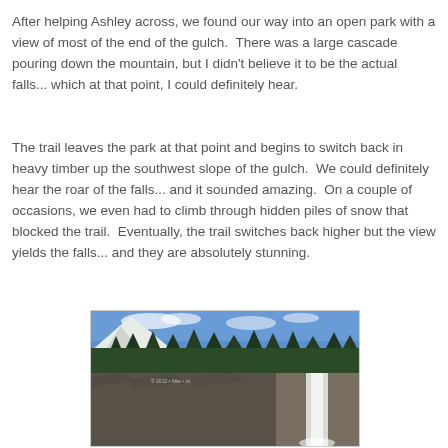After helping Ashley across, we found our way into an open park with a view of most of the end of the gulch.  There was a large cascade pouring down the mountain, but I didn't believe it to be the actual falls... which at that point, I could definitely hear.
The trail leaves the park at that point and begins to switch back in heavy timber up the southwest slope of the gulch.  We could definitely hear the roar of the falls... and it sounded amazing.  On a couple of occasions, we even had to climb through hidden piles of snow that blocked the trail.  Eventually, the trail switches back higher but the view yields the falls... and they are absolutely stunning.
[Figure (photo): Photograph of a waterfall cascading down rocky cliffs with snow-capped mountains in the background, dense evergreen forest in the middle ground, and blue sky with light clouds above.]